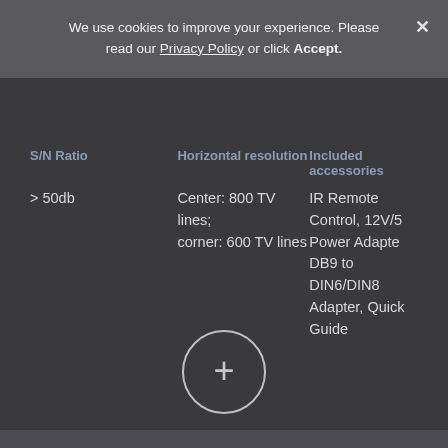We use cookies to improve your experience. Please read our Privacy Policy or click Accept.
| S/N Ratio | Horizontal resolution | Included accessories |
| --- | --- | --- |
| > 50db | Center: 800 TV lines; corner: 600 TV lines | IR Remote Control, 12V/5 Power Adapte DB9 to DIN6/DIN8 Adapter, Quick Guide |
[Figure (other): A circular plus (+) button with a thin white border circle, white plus sign inside, on dark background.]